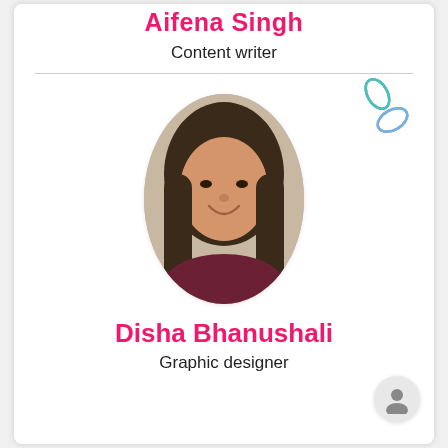Aifena Singh
Content writer
[Figure (logo): App logo — four petal/leaf shapes in blue, pink, teal outline style]
[Figure (photo): Profile photo of a young woman with long dark hair, smiling, wearing a dark red/maroon top, displayed in a rounded rectangle frame]
Disha Bhanushali
Graphic designer
[Figure (illustration): User/profile icon — silhouette of a person in a light gray circle]